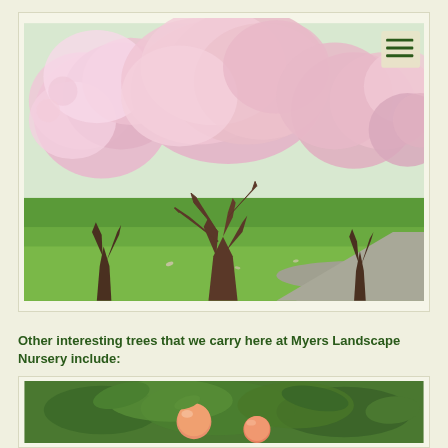[Figure (photo): A row of cherry blossom trees in full pink bloom lining a green lawn with a paved path, park setting, with a hamburger menu icon in the top right corner]
Other interesting trees that we carry here at Myers Landscape Nursery include:
[Figure (photo): Close-up photo of fruit (appears to be peach or similar) hanging on a tree branch with green leaves]